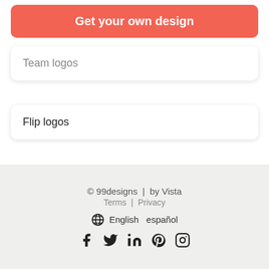Get your own design
Team logos
Flip logos
© 99designs  |  by Vista  Terms  |  Privacy  English  español